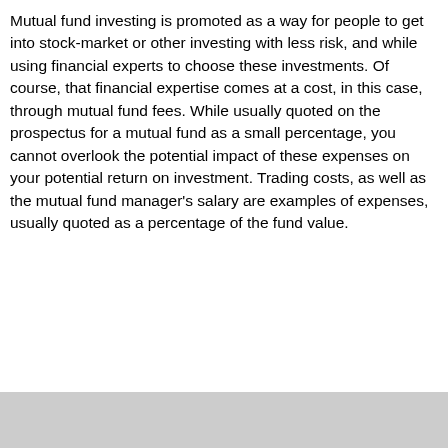Mutual fund investing is promoted as a way for people to get into stock-market or other investing with less risk, and while using financial experts to choose these investments. Of course, that financial expertise comes at a cost, in this case, through mutual fund fees. While usually quoted on the prospectus for a mutual fund as a small percentage, you cannot overlook the potential impact of these expenses on your potential return on investment. Trading costs, as well as the mutual fund manager's salary are examples of expenses, usually quoted as a percentage of the fund value.